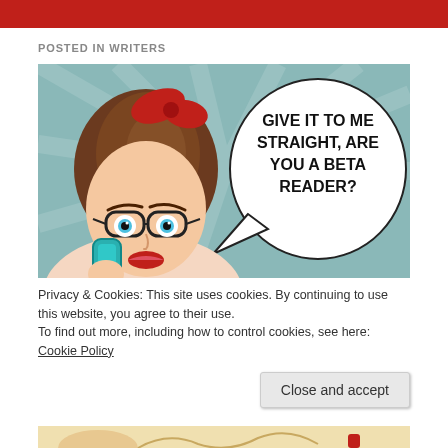POSTED IN WRITERS
[Figure (illustration): Pop-art style illustration of a surprised woman with glasses and red hair bow talking on a phone, with a speech bubble reading: GIVE IT TO ME STRAIGHT, ARE YOU A BETA READER?]
Privacy & Cookies: This site uses cookies. By continuing to use this website, you agree to their use.
To find out more, including how to control cookies, see here: Cookie Policy
Close and accept